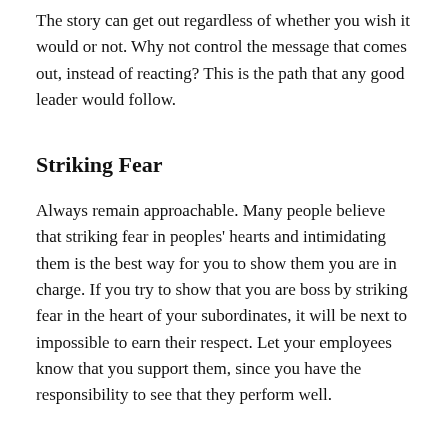The story can get out regardless of whether you wish it would or not. Why not control the message that comes out, instead of reacting? This is the path that any good leader would follow.
Striking Fear
Always remain approachable. Many people believe that striking fear in peoples' hearts and intimidating them is the best way for you to show them you are in charge. If you try to show that you are boss by striking fear in the heart of your subordinates, it will be next to impossible to earn their respect. Let your employees know that you support them, since you have the responsibility to see that they perform well.